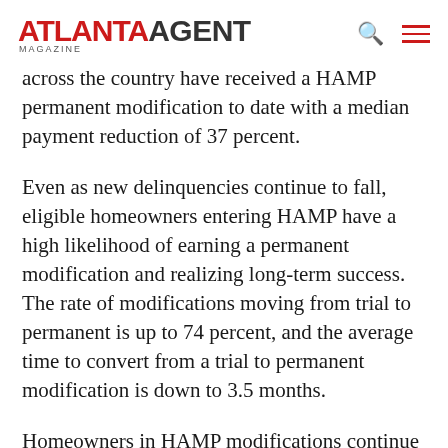ATLANTA AGENT MAGAZINE
across the country have received a HAMP permanent modification to date with a median payment reduction of 37 percent.
Even as new delinquencies continue to fall, eligible homeowners entering HAMP have a high likelihood of earning a permanent modification and realizing long-term success. The rate of modifications moving from trial to permanent is up to 74 percent, and the average time to convert from a trial to permanent modification is down to 3.5 months.
Homeowners in HAMP modifications continue to perform well over time, with re-default rates lower than